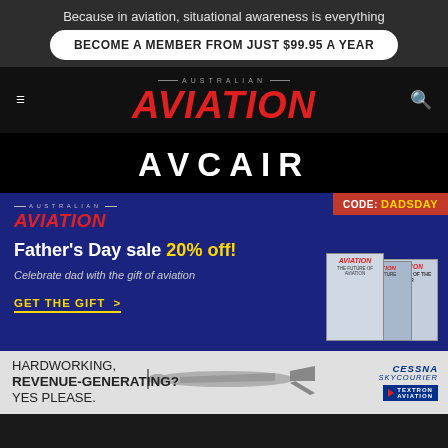Because in aviation, situational awareness is everything
BECOME A MEMBER FROM JUST $99.95 A YEAR
AUSTRALIAN AVIATION
[Figure (logo): AVCAIR logo in white text on black background]
[Figure (infographic): Australian Aviation Father's Day sale promotion: 20% off, code DADSDAY, Celebrate dad with the gift of aviation, GET THE GIFT >]
[Figure (infographic): Cessna SkyCourier ad: HARDWORKING, REVENUE-GENERATING? YES PLEASE. with plane silhouette and Textron Aviation logo]